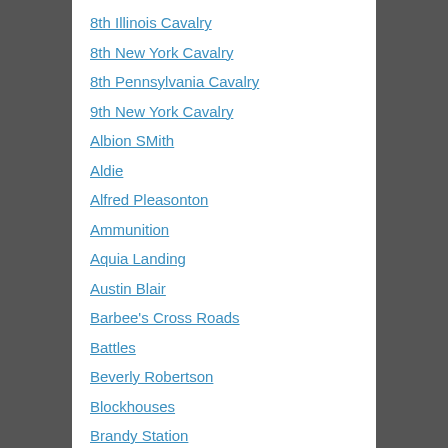8th Illinois Cavalry
8th New York Cavalry
8th Pennsylvania Cavalry
9th New York Cavalry
Albion SMith
Aldie
Alfred Pleasonton
Ammunition
Aquia Landing
Austin Blair
Barbee's Cross Roads
Battles
Beverly Robertson
Blockhouses
Brandy Station
Brentsville